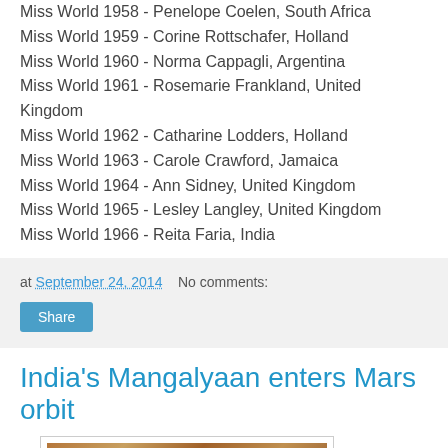Miss World 1958 - Penelope Coelen, South Africa
Miss World 1959 - Corine Rottschafer, Holland
Miss World 1960 - Norma Cappagli, Argentina
Miss World 1961 - Rosemarie Frankland, United Kingdom
Miss World 1962 - Catharine Lodders, Holland
Miss World 1963 - Carole Crawford, Jamaica
Miss World 1964 - Ann Sidney, United Kingdom
Miss World 1965 - Lesley Langley, United Kingdom
Miss World 1966 - Reita Faria, India
at September 24, 2014    No comments:
Share
India's Mangalyaan enters Mars orbit
[Figure (photo): Photograph of Mars surface showing craters and rocky terrain in orange-brown tones, with a small navigation/compass icon in the top-left corner.]